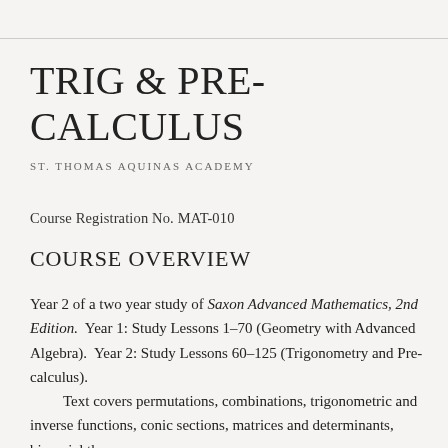TRIG & PRE-CALCULUS
ST. THOMAS AQUINAS ACADEMY
Course Registration No. MAT-010
COURSE OVERVIEW
Year 2 of a two year study of Saxon Advanced Mathematics, 2nd Edition.  Year 1: Study Lessons 1–70 (Geometry with Advanced Algebra).  Year 2: Study Lessons 60–125 (Trigonometry and Pre-calculus).
	Text covers permutations, combinations, trigonometric and inverse functions, conic sections, matrices and determinants, binomial theorem,